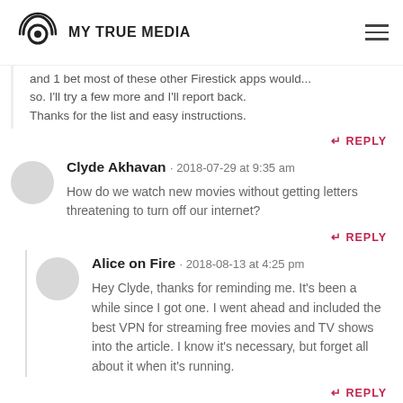MY TRUE MEDIA
and 1 bet most of these other Firestick apps would... so. I'll try a few more and I'll report back.
Thanks for the list and easy instructions.
REPLY
Clyde Akhavan · 2018-07-29 at 9:35 am
How do we watch new movies without getting letters threatening to turn off our internet?
REPLY
Alice on Fire · 2018-08-13 at 4:25 pm
Hey Clyde, thanks for reminding me. It's been a while since I got one. I went ahead and included the best VPN for streaming free movies and TV shows into the article. I know it's necessary, but forget all about it when it's running.
REPLY